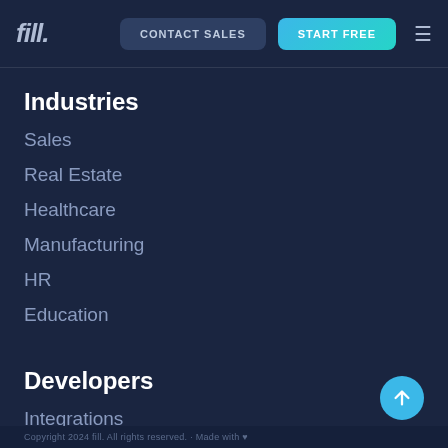fill. | CONTACT SALES | START FREE
Industries
Sales
Real Estate
Healthcare
Manufacturing
HR
Education
Developers
Integrations
API Documentation